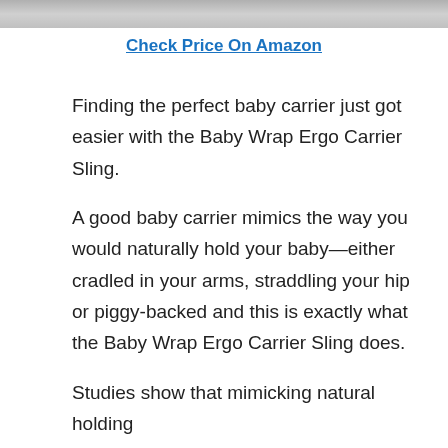[Figure (photo): Partial photo of a person carrying a baby, cropped at top of page]
Check Price On Amazon
Finding the perfect baby carrier just got easier with the Baby Wrap Ergo Carrier Sling.
A good baby carrier mimics the way you would naturally hold your baby—either cradled in your arms, straddling your hip or piggy-backed and this is exactly what the Baby Wrap Ergo Carrier Sling does.
Studies show that mimicking natural holding